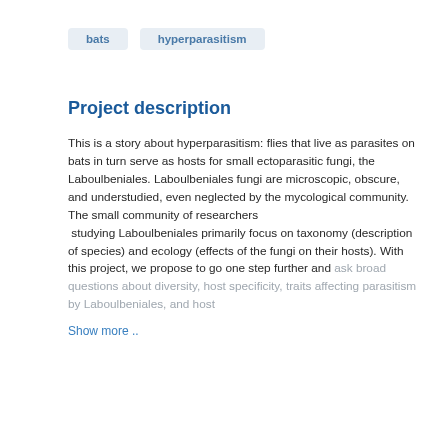bats
hyperparasitism
Project description
This is a story about hyperparasitism: flies that live as parasites on bats in turn serve as hosts for small ectoparasitic fungi, the Laboulbeniales. Laboulbeniales fungi are microscopic, obscure, and understudied, even neglected by the mycological community. The small community of researchers studying Laboulbeniales primarily focus on taxonomy (description of species) and ecology (effects of the fungi on their hosts). With this project, we propose to go one step further and ask broad questions about diversity, host specificity, traits affecting parasitism by Laboulbeniales, and host
Show more ..